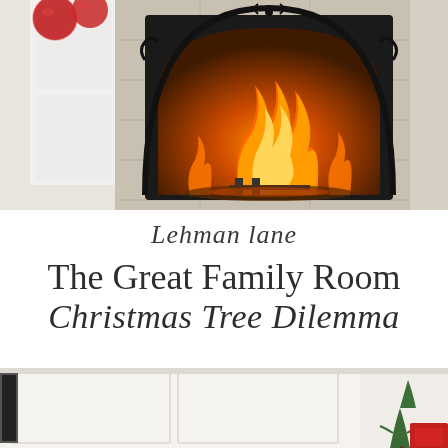[Figure (photo): Photo of a lit fireplace with orange flames, decorated with a decorative black metal arch screen. To the left, red decorative balls/ornaments are visible hanging near a white wall/door.]
Lehman lane
The Great Family Room Christmas Tree Dilemma
[Figure (photo): Bottom portion of a room photo showing white wainscoting/paneling, a small green Christmas tree branch or plant, and part of a red object in the lower right corner.]